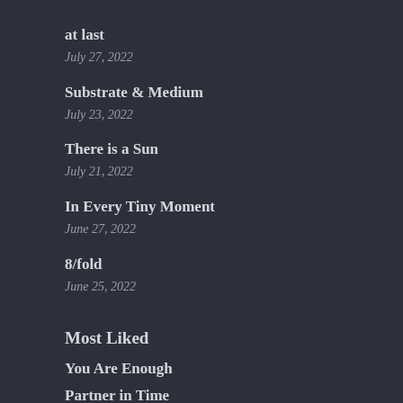at last
July 27, 2022
Substrate & Medium
July 23, 2022
There is a Sun
July 21, 2022
In Every Tiny Moment
June 27, 2022
8/fold
June 25, 2022
Most Liked
You Are Enough
Partner in Time